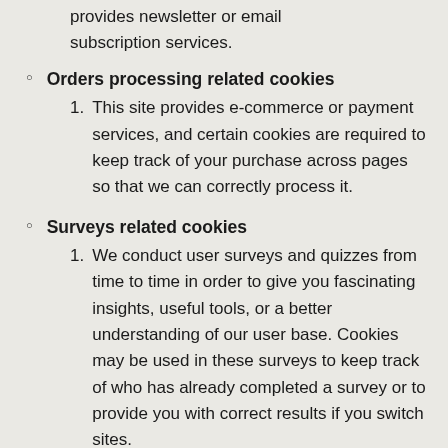provides newsletter or email subscription services.
Orders processing related cookies
1. This site provides e-commerce or payment services, and certain cookies are required to keep track of your purchase across pages so that we can correctly process it.
Surveys related cookies
1. We conduct user surveys and quizzes from time to time in order to give you fascinating insights, useful tools, or a better understanding of our user base. Cookies may be used in these surveys to keep track of who has already completed a survey or to provide you with correct results if you switch sites.